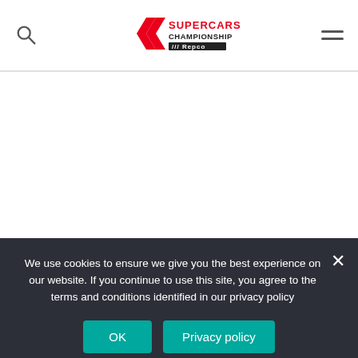Supercars Championship Repco — navigation bar with search and menu icons
We use cookies to ensure we give you the best experience on our website. If you continue to use this site, you agree to the terms and conditions identified in our privacy policy
| Event | Race | Qualifying | Finish |
| --- | --- | --- | --- |
| Beaurepaires Sydney SuperNight › | Race 1 › | 7 | 5 |
| Beaurepaires Sydney SuperNight › | Race 2 › | 1 | 2 |